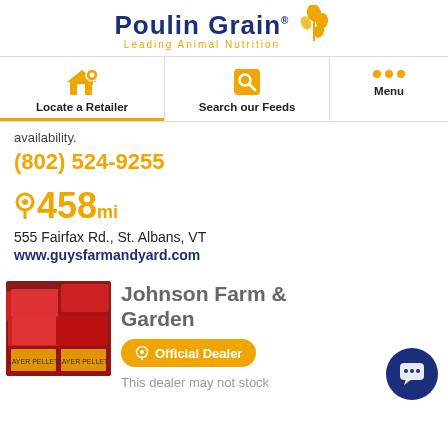[Figure (logo): Poulin Grain logo with wheat graphic and tagline 'Leading Animal Nutrition']
Locate a Retailer | Search our Feeds | Menu
availability.
(802) 524-9255
458 mi
555 Fairfax Rd., St. Albans, VT
www.guysfarmandyard.com
[Figure (photo): Photo of stacked bags of animal feed/pellets in a store]
Johnson Farm & Garden
Official Dealer
This dealer may not stock